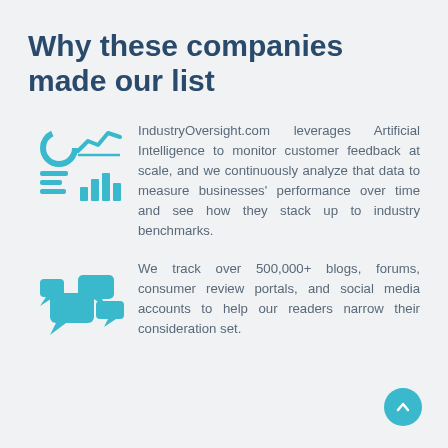Why these companies made our list
[Figure (illustration): Teal icon showing analytics symbols: a donut/pie chart, a line chart, horizontal bars, and a bar chart, arranged in a 2x2 grid style.]
IndustryOversight.com leverages Artificial Intelligence to monitor customer feedback at scale, and we continuously analyze that data to measure businesses' performance over time and see how they stack up to industry benchmarks.
[Figure (illustration): Teal icon showing multiple speech/chat bubbles in different sizes, representing blogs, forums, and social media.]
We track over 500,000+ blogs, forums, consumer review portals, and social media accounts to help our readers narrow their consideration set.